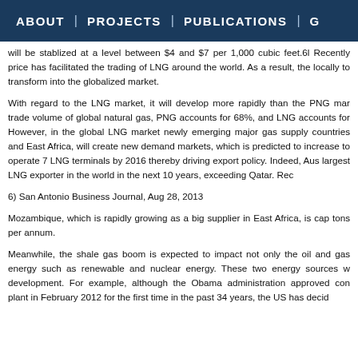ABOUT | PROJECTS | PUBLICATIONS | G
will be stablized at a level between $4 and $7 per 1,000 cubic feet.6l Recently price has facilitated the trading of LNG around the world. As a result, the locally to transform into the globalized market.
With regard to the LNG market, it will develop more rapidly than the PNG mar trade volume of global natural gas, PNG accounts for 68%, and LNG accounts for However, in the global LNG market newly emerging major gas supply countries and East Africa, will create new demand markets, which is predicted to increase to operate 7 LNG terminals by 2016 thereby driving export policy. Indeed, Aus largest LNG exporter in the world in the next 10 years, exceeding Qatar. Rec
6)  San Antonio Business Journal,  Aug 28, 2013
Mozambique, which is rapidly growing as a big supplier in East Africa, is cap tons per annum.
Meanwhile, the shale gas boom is expected to impact not only the oil and gas energy such as renewable and nuclear energy. These two energy sources w development. For example, although the Obama administration approved con plant in February 2012 for the first time in the past 34 years, the US has decid